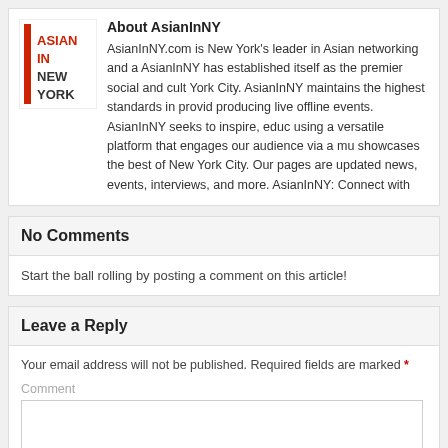[Figure (logo): Asian In New York logo — red vertical bar on the left, text ASIAN IN NEW YORK in red and black]
About AsianInNY
AsianInNY.com is New York's leader in Asian networking and a AsianInNY has established itself as the premier social and cult York City. AsianInNY maintains the highest standards in provid producing live offline events. AsianInNY seeks to inspire, educ using a versatile platform that engages our audience via a mu showcases the best of New York City. Our pages are updated news, events, interviews, and more. AsianInNY: Connect with
No Comments
Start the ball rolling by posting a comment on this article!
Leave a Reply
Your email address will not be published. Required fields are marked *
Comment